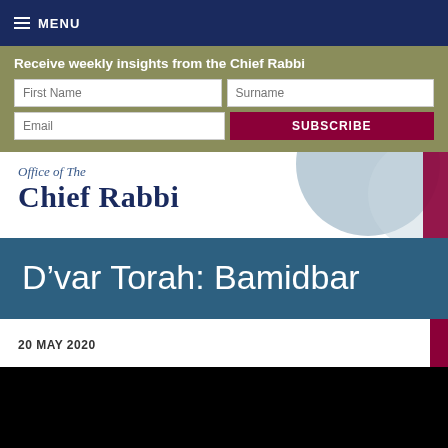≡ MENU
Receive weekly insights from the Chief Rabbi
D'var Torah: Bamidbar
20 MAY 2020
[Figure (photo): Black video thumbnail area]